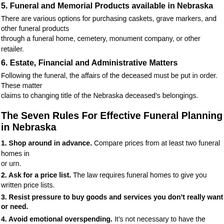5. Funeral and Memorial Products available in Nebraska
There are various options for purchasing caskets, grave markers, and other funeral products through a funeral home, cemetery, monument company, or other retailer.
6. Estate, Financial and Administrative Matters
Following the funeral, the affairs of the deceased must be put in order. These may range from filing insurance claims to changing title of the Nebraska deceased’s belongings.
The Seven Rules For Effective Funeral Planning in Nebraska
1. Shop around in advance. Compare prices from at least two funeral homes including casket or urn.
2. Ask for a price list. The law requires funeral homes to give you written price lists.
3. Resist pressure to buy goods and services you don’t really want or need.
4. Avoid emotional overspending. It’s not necessary to have the fanciest casket or the most expensive one.
5. Recognize your rights. Laws regarding funerals and burials vary from state to state. Know which services the law requires you to purchase and which are optional in Nebraska.
6. Apply the same smart shopping techniques you use for other major purchases.